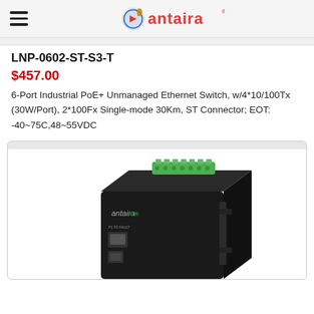antaira [logo]
LNP-0602-ST-S3-T
$457.00
6-Port Industrial PoE+ Unmanaged Ethernet Switch, w/4*10/100Tx (30W/Port), 2*100Fx Single-mode 30Km, ST Connector; EOT: -40~75C,48~55VDC
[Figure (photo): Photo of the LNP-0602-ST-S3-T industrial PoE+ unmanaged Ethernet switch — a compact black metal enclosure with green terminal block on top, RJ45 and SFP ports on the front, and 'antaira' branding on the body.]